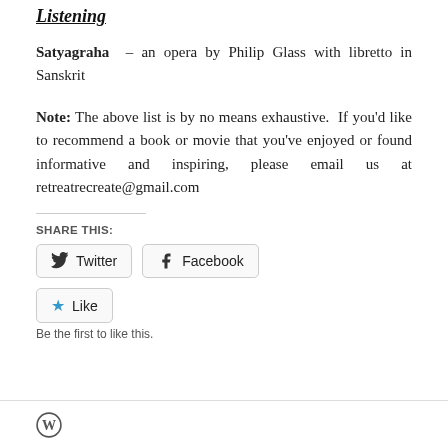Listening
Satyagraha – an opera by Philip Glass with libretto in Sanskrit
Note: The above list is by no means exhaustive. If you'd like to recommend a book or movie that you've enjoyed or found informative and inspiring, please email us at retreatrecreate@gmail.com
SHARE THIS:
Twitter  Facebook
Like  Be the first to like this.
WordPress icon